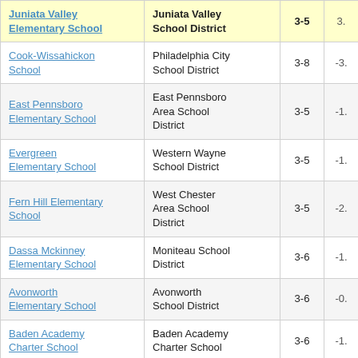| School | District | Grades | Score |
| --- | --- | --- | --- |
| Juniata Valley Elementary School | Juniata Valley School District | 3-5 | 3. |
| Cook-Wissahickon School | Philadelphia City School District | 3-8 | -3. |
| East Pennsboro Elementary School | East Pennsboro Area School District | 3-5 | -1. |
| Evergreen Elementary School | Western Wayne School District | 3-5 | -1. |
| Fern Hill Elementary School | West Chester Area School District | 3-5 | -2. |
| Dassa Mckinney Elementary School | Moniteau School District | 3-6 | -1. |
| Avonworth Elementary School | Avonworth School District | 3-6 | -0. |
| Baden Academy Charter School | Baden Academy Charter School | 3-6 | -1. |